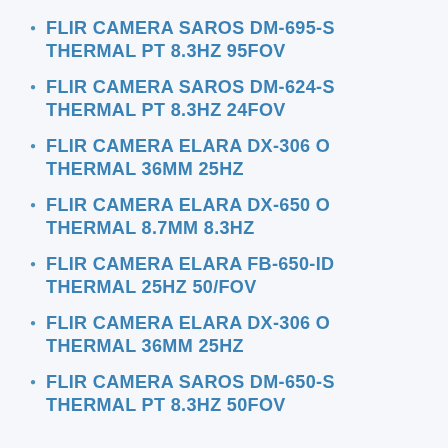FLIR CAMERA SAROS DM-695-S THERMAL PT 8.3HZ 95FOV
FLIR CAMERA SAROS DM-624-S THERMAL PT 8.3HZ 24FOV
FLIR CAMERA ELARA DX-306 O THERMAL 36MM 25HZ
FLIR CAMERA ELARA DX-650 O THERMAL 8.7MM 8.3HZ
FLIR CAMERA ELARA FB-650-ID THERMAL 25HZ 50/FOV
FLIR CAMERA ELARA DX-306 O THERMAL 36MM 25HZ
FLIR CAMERA SAROS DM-650-S THERMAL PT 8.3HZ 50FOV